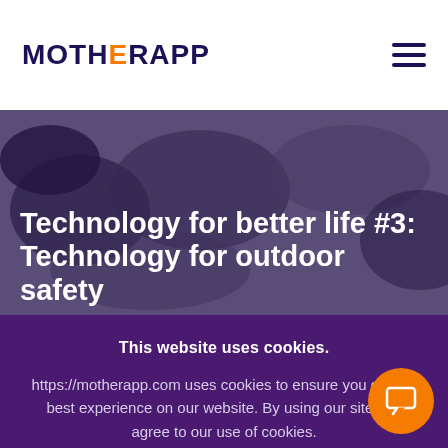MOTHERAPP
Technology for better life #3: Technology for outdoor safety
This website uses cookies.
https://motherapp.com uses cookies to ensure you get the best experience on our website. By using our site you agree to our use of cookies.
Accept